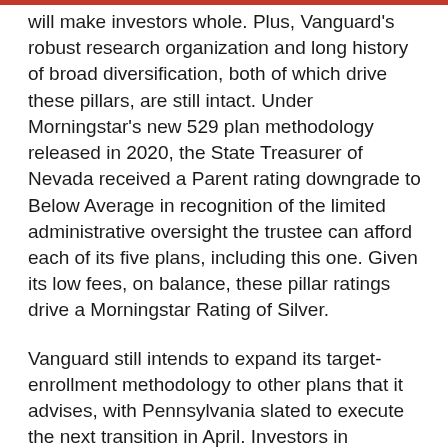will make investors whole. Plus, Vanguard's robust research organization and long history of broad diversification, both of which drive these pillars, are still intact. Under Morningstar's new 529 plan methodology released in 2020, the State Treasurer of Nevada received a Parent rating downgrade to Below Average in recognition of the limited administrative oversight the trustee can afford each of its five plans, including this one. Given its low fees, on balance, these pillar ratings drive a Morningstar Rating of Silver.
Vanguard still intends to expand its target-enrollment methodology to other plans that it advises, with Pennsylvania slated to execute the next transition in April. Investors in Pennsylvania's plan received a brochure distributed in March that borrowed from Nevada's incorrect recommendations. Pennsylvania has promised